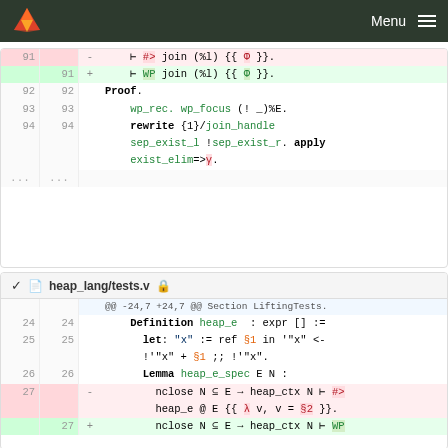Menu
[Figure (screenshot): Git diff view of a Coq proof file showing lines 91-94 with deletions and insertions. Line 91 deleted: ⊢ #> join (%l) {{ Φ }}. Line 91 inserted: ⊢ WP join (%l) {{ Φ }}. Lines 92-94 show Proof, wp_rec. wp_focus (! _)%E., rewrite {1}/join_handle sep_exist_l !sep_exist_r. apply exist_elim=>γ.]
[Figure (screenshot): Git diff view of heap_lang/tests.v showing lines 24-27. Lines 24-25: Definition heap_e : expr [] := let: 'x' := ref §1 in '"x" <- !"x" + §1 ;; !"x". Line 26: Lemma heap_e_spec E N :. Line 27 deleted: nclose N ⊆ E → heap_ctx N ⊢ #> heap_e @ E {{ λ v, v = §2 }}. Line 27 inserted: nclose N ⊆ E → heap_ctx N ⊢ WP]